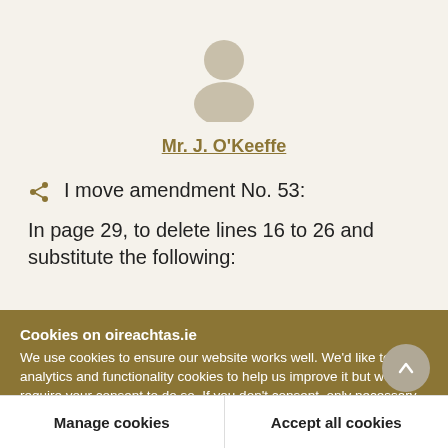[Figure (illustration): Generic user avatar silhouette icon in beige/tan color]
Mr. J. O'Keeffe
I move amendment No. 53:
In page 29, to delete lines 16 to 26 and substitute the following:
Cookies on oireachtas.ie
We use cookies to ensure our website works well. We'd like to use analytics and functionality cookies to help us improve it but we require your consent to do so. If you don't consent, only necessary cookies will be used. Read more about our cookies
Manage cookies
Accept all cookies